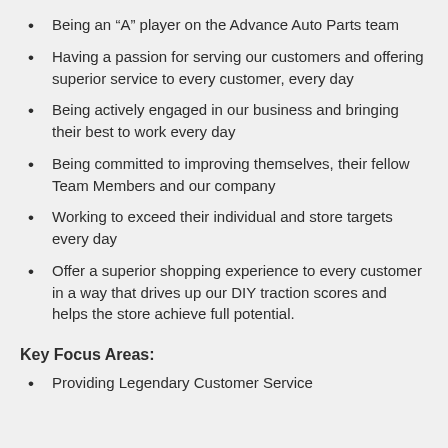Being an “A” player on the Advance Auto Parts team
Having a passion for serving our customers and offering superior service to every customer, every day
Being actively engaged in our business and bringing their best to work every day
Being committed to improving themselves, their fellow Team Members and our company
Working to exceed their individual and store targets every day
Offer a superior shopping experience to every customer in a way that drives up our DIY traction scores and helps the store achieve full potential.
Key Focus Areas:
Providing Legendary Customer Service